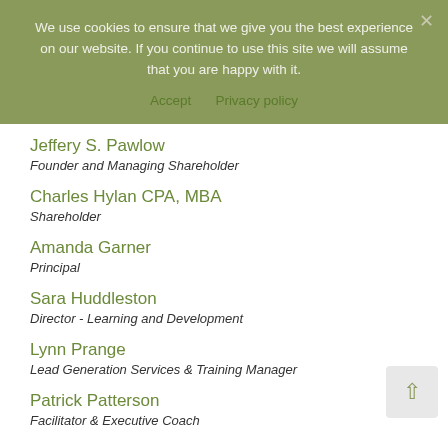We use cookies to ensure that we give you the best experience on our website. If you continue to use this site we will assume that you are happy with it.
Accept   Privacy policy
Jeffery S. Pawlow
Founder and Managing Shareholder
Charles Hylan CPA, MBA
Shareholder
Amanda Garner
Principal
Sara Huddleston
Director - Learning and Development
Lynn Prange
Lead Generation Services & Training Manager
Patrick Patterson
Facilitator & Executive Coach